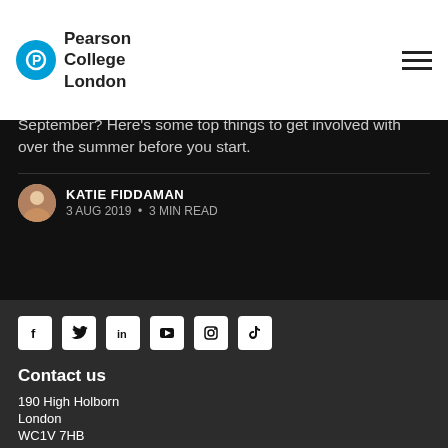Pearson College London
September? Here's some top things to get involved with over the summer before you start.
KATIE FIDDAMAN
3 AUG 2019 • 3 MIN READ
[Figure (infographic): Social media icons: Facebook, Twitter, LinkedIn, YouTube, Instagram, TikTok]
Contact us
190 High Holborn
London
WC1V 7HB
+44 (0)203 813 3850
hello@pearsoncollegelondon.ac.uk
Study with us